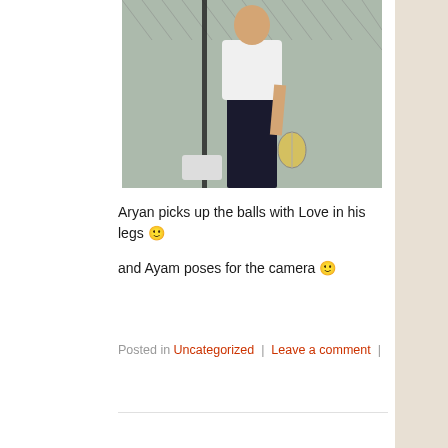[Figure (photo): Person standing on a tennis/pickleball court holding a paddle, wearing white polo shirt and dark pants, chain-link fence in background]
Aryan picks up the balls with Love in his legs 🙂
and Ayam poses for the camera 🙂
Posted in Uncategorized | Leave a comment |